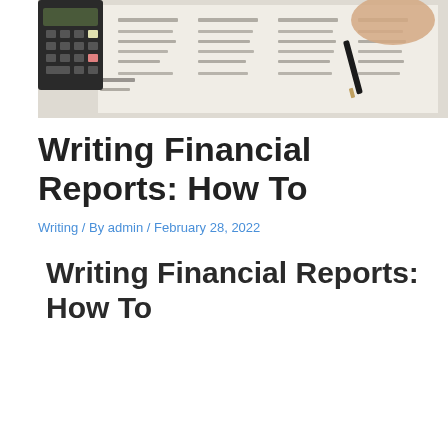[Figure (photo): A photo showing a hand holding a pen over financial/accounting documents with columns of numbers, with a calculator visible at the left edge.]
Writing Financial Reports: How To
Writing / By admin / February 28, 2022
Writing Financial Reports: How To